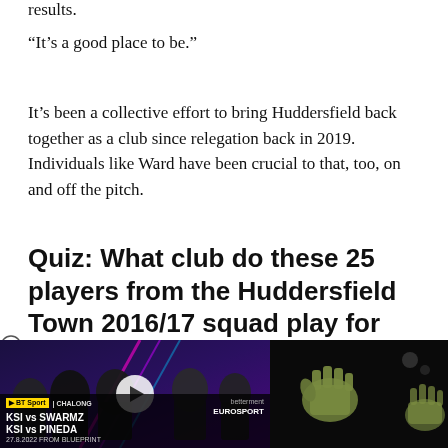results.
“It’s a good place to be.”
It’s been a collective effort to bring Huddersfield back together as a club since relegation back in 2019. Individuals like Ward have been crucial to that, too, on and off the pitch.
Quiz: What club do these 25 players from the Huddersfield Town 2016/17 squad play for now?
[Figure (screenshot): Video thumbnail showing KSI vs Swarmz / KSI vs Pineda boxing event advertisement with multiple figures on dark background, with a play button overlay. Second half shows a dark image with goalkeeper gloves visible.]